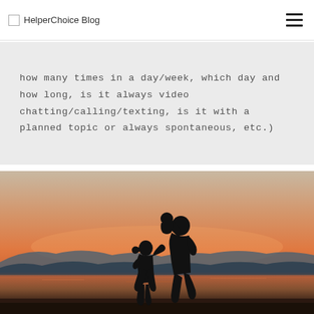HelperChoice Blog
how many times in a day/week, which day and how long, is it always video chatting/calling/texting, is it with a planned topic or always spontaneous, etc.)
[Figure (photo): Silhouette of a woman holding a baby and a young child standing beside her at sunset near a lake or sea, warm orange and pink sky with mountain silhouettes in the background]